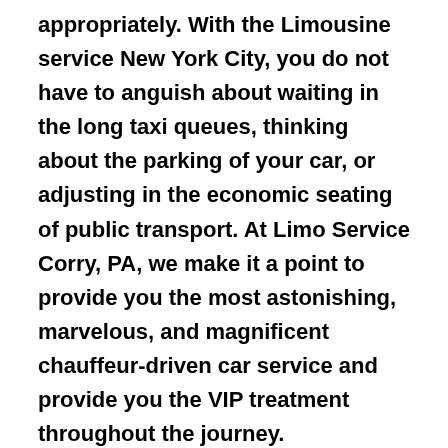appropriately. With the Limousine service New York City, you do not have to anguish about waiting in the long taxi queues, thinking about the parking of your car, or adjusting in the economic seating of public transport. At Limo Service Corry, PA, we make it a point to provide you the most astonishing, marvelous, and magnificent chauffeur-driven car service and provide you the VIP treatment throughout the journey.
At Limo service Queens; we have the line luxury vehicles at the most affordable and competitive price range. We at Limo Service Manhattan keep customers as our utmost priority. At Limo service Bronx, our talented and skilled ground staffs focus